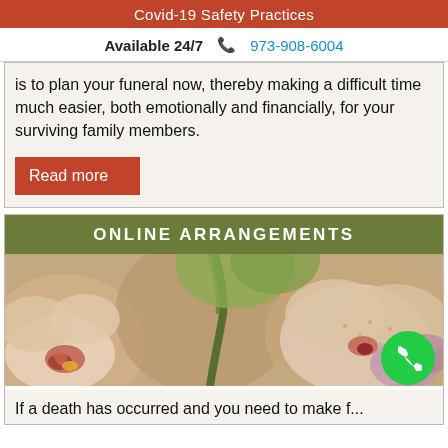Covid-19 Safety Practices
Available 24/7   📞 973-908-6004
is to plan your funeral now, thereby making a difficult time much easier, both emotionally and financially, for your surviving family members.
Read more
ONLINE ARRANGEMENTS
[Figure (photo): Close-up photograph of orchid flowers with pink and white petals and a green stem against a blurred background.]
If a death has occurred and you need to make f...